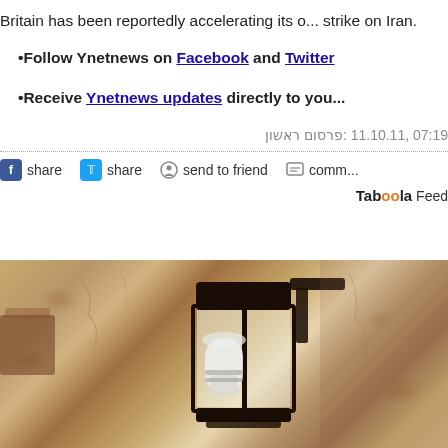Britain has been reportedly accelerating its o... strike on Iran.
Follow Ynetnews on Facebook and Twitter
Receive Ynetnews updates directly to you...
פרסום ראשון: 11.10.11 ,07:19
share  share  send to friend  comm...
Taboola Feed
[Figure (photo): A lantern mounted on a textured stone wall, sepia-toned photograph]